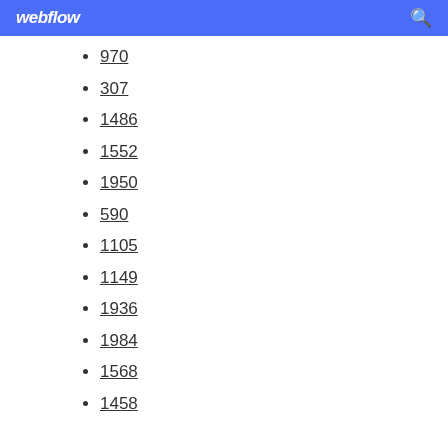webflow
970
307
1486
1552
1950
590
1105
1149
1936
1984
1568
1458